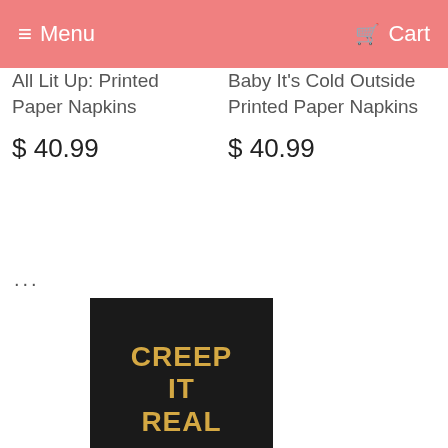Menu   Cart
All Lit Up: Printed Paper Napkins
$ 40.99
Baby It's Cold Outside Printed Paper Napkins
$ 40.99
...
[Figure (photo): Black paper napkin with gold text reading CREEP IT REAL]